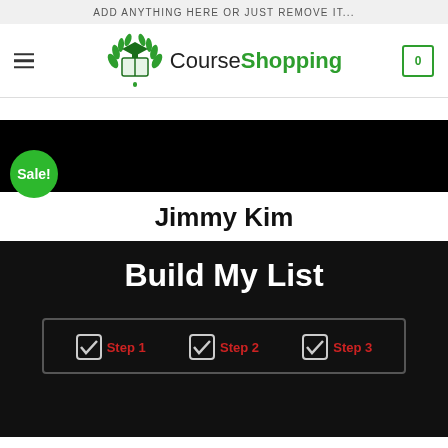ADD ANYTHING HERE OR JUST REMOVE IT...
[Figure (logo): CourseShopping logo with green laurel wreath and open book icon, hamburger menu on left, cart icon with 0 on right]
[Figure (photo): Black product banner image with green circular Sale! badge overlapping bottom-left corner]
Jimmy Kim
[Figure (screenshot): Black background course image with bold white text 'Build My List' and a bordered box showing three red-labeled steps: Step 1, Step 2, Step 3 each with a checkbox icon]